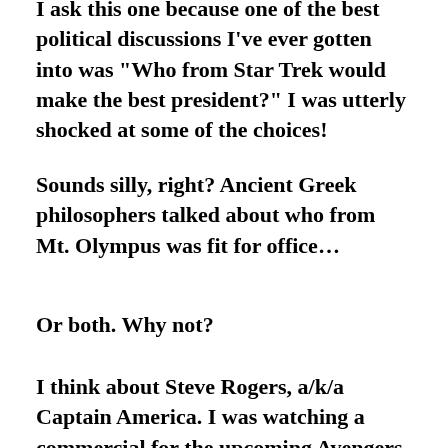I ask this one because one of the best political discussions I’ve ever gotten into was “Who from Star Trek would make the best president?” I was utterly shocked at some of the choices!
Sounds silly, right? Ancient Greek philosophers talked about who from Mt. Olympus was fit for office…
Or both. Why not?
I think about Steve Rogers, a/k/a Captain America. I was watching a commercial for the upcoming Avengers movie. Cap says to the